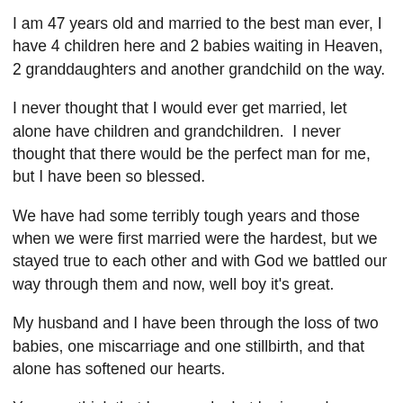I am 47 years old and married to the best man ever, I have 4 children here and 2 babies waiting in Heaven, 2 granddaughters and another grandchild on the way.
I never thought that I would ever get married, let alone have children and grandchildren.  I never thought that there would be the perfect man for me, but I have been so blessed.
We have had some terribly tough years and those when we were first married were the hardest, but we stayed true to each other and with God we battled our way through them and now, well boy it's great.
My husband and I have been through the loss of two babies, one miscarriage and one stillbirth, and that alone has softened our hearts.
You may think that I am mushy but he is much worse, but I just love that about him. I love that the loss of our children has